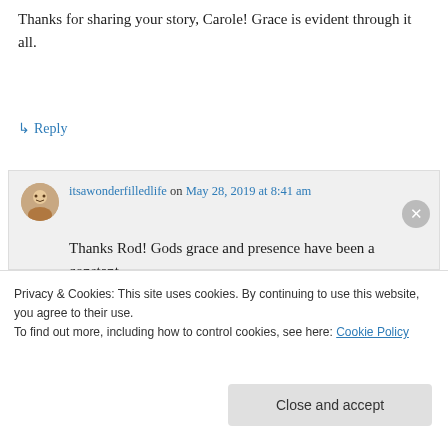Thanks for sharing your story, Carole! Grace is evident through it all.
↳ Reply
itsawonderfilledlife on May 28, 2019 at 8:41 am
Thanks Rod! Gods grace and presence have been a constant.
Carole
Privacy & Cookies: This site uses cookies. By continuing to use this website, you agree to their use.
To find out more, including how to control cookies, see here: Cookie Policy
Close and accept